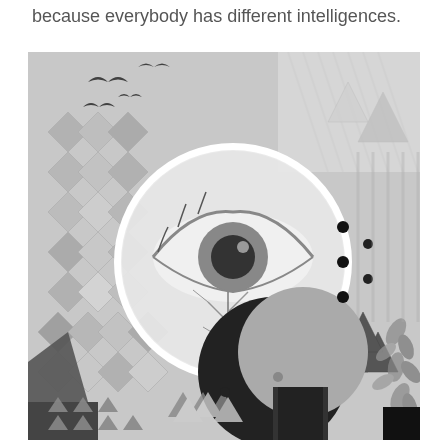because everybody has different intelligences.
[Figure (illustration): A black and white surrealist collage artwork featuring a large circular magnifying glass or lens with a human eye visible inside, overlaid on geometric diamond and triangle patterns. A dark crescent moon shape appears below the circle. Birds fly in the upper left. The background is filled with overlapping geometric shapes, triangles, and abstract textures in grayscale.]